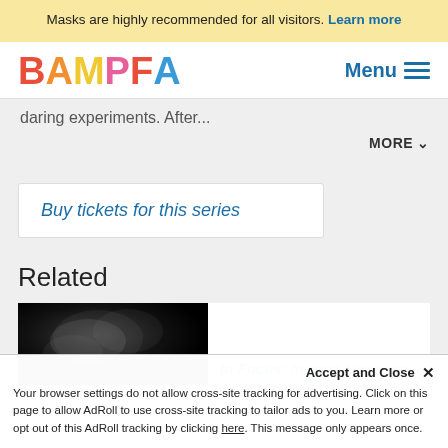Masks are highly recommended for all visitors. Learn more
[Figure (logo): BAMPFA logo in multicolor letters]
Menu
daring experiments. After...
MORE ∨
Buy tickets for this series
Related
[Figure (photo): Dark moody film still in black and white]
In Focus: Ingmar Bergman
Accept and Close ✕
Your browser settings do not allow cross-site tracking for advertising. Click on this page to allow AdRoll to use cross-site tracking to tailor ads to you. Learn more or opt out of this AdRoll tracking by clicking here. This message only appears once.